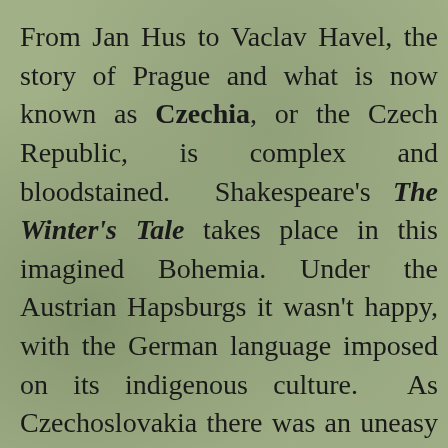From Jan Hus to Vaclav Havel, the story of Prague and what is now known as Czechia, or the Czech Republic, is complex and bloodstained. Shakespeare's The Winter's Tale takes place in this imagined Bohemia. Under the Austrian Hapsburgs it wasn't happy, with the German language imposed on its indigenous culture. As Czechoslovakia there was an uneasy mix until the Nazis bludgeoned it into submission. After that war it was miserably subsumed into the Soviet Bloc, before the famous Spring, and the Winter of Discontent.